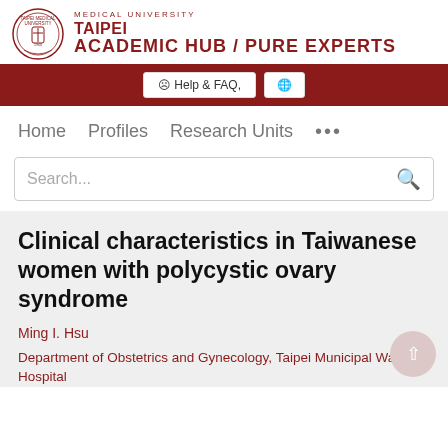[Figure (logo): Taipei Medical University circular seal logo with TMU emblem]
TAIPEI MEDICAL UNIVERSITY ACADEMIC HUB / PURE EXPERTS
Help & FAQ, [globe icon]
Home   Profiles   Research Units   ...
Clinical characteristics in Taiwanese women with polycystic ovary syndrome
Ming I. Hsu
Department of Obstetrics and Gynecology, Taipei Municipal Wanfang Hospital